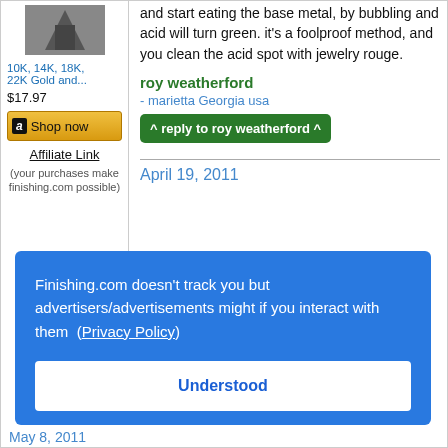[Figure (photo): Product image thumbnail (dark colored item, partially cut off at top)]
10K, 14K, 18K, 22K Gold and...
$17.97
Shop now
Affiliate Link
(your purchases make finishing.com possible)
and start eating the base metal, by bubbling and acid will turn green. it's a foolproof method, and you clean the acid spot with jewelry rouge.
roy weatherford
- marietta Georgia usa
^ reply to roy weatherford ^
April 19, 2011
Finishing.com doesn't track you but advertisers/advertisements might if you interact with them (Privacy Policy)
Understood